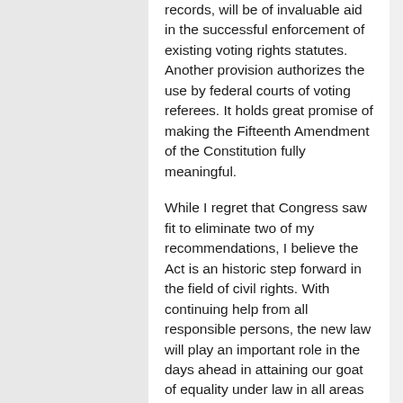records, will be of invaluable aid in the successful enforcement of existing voting rights statutes. Another provision authorizes the use by federal courts of voting referees. It holds great promise of making the Fifteenth Amendment of the Constitution fully meaningful.
While I regret that Congress saw fit to eliminate two of my recommendations, I believe the Act is an historic step forward in the field of civil rights. With continuing help from all responsible persons, the new law will play an important role in the days ahead in attaining our goat of equality under law in all areas of our country for all Americans.
NOTE: The Civil Rights Act of 1960 is